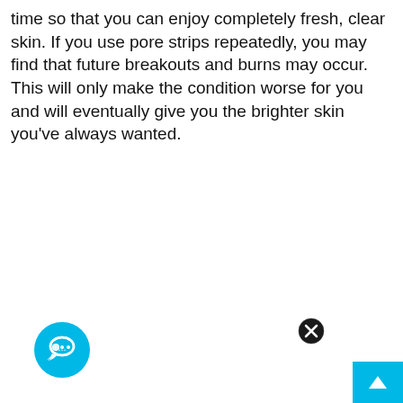time so that you can enjoy completely fresh, clear skin. If you use pore strips repeatedly, you may find that future breakouts and burns may occur. This will only make the condition worse for you and will eventually give you the brighter skin you've always wanted.
[Figure (other): Blue circular chat/messaging button icon at bottom left]
[Figure (other): Black circle with white X close button]
[Figure (other): Cyan/light blue scroll-to-top button with upward arrow at bottom right corner]